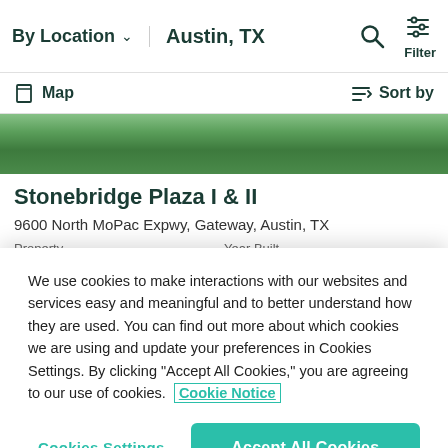By Location  Austin, TX  Filter
Map  Sort by
[Figure (photo): Aerial strip photo of Stonebridge Plaza buildings with green tree canopy]
Stonebridge Plaza I & II
9600 North MoPac Expwy, Gateway, Austin, TX
Property    Year Built
We use cookies to make interactions with our websites and services easy and meaningful and to better understand how they are used. You can find out more about which cookies we are using and update your preferences in Cookies Settings. By clicking "Accept All Cookies," you are agreeing to our use of cookies.  Cookie Notice
Cookies Settings  Accept All Cookies